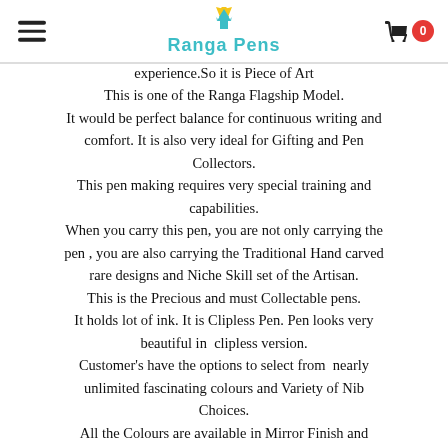Ranga Pens
experience.So it is Piece of Art
This is one of the Ranga Flagship Model.
It would be perfect balance for continuous writing and comfort. It is also very ideal for Gifting and Pen Collectors.
This pen making requires very special training and capabilities.
When you carry this pen, you are not only carrying the pen , you are also carrying the Traditional Hand carved rare designs and Niche Skill set of the Artisan.
This is the Precious and must Collectable pens.
It holds lot of ink. It is Clipless Pen. Pen looks very beautiful in  clipless version.
Customer's have the options to select from  nearly unlimited fascinating colours and Variety of Nib Choices.
All the Colours are available in Mirror Finish and